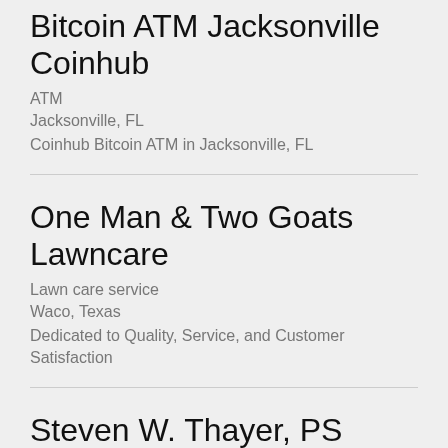Bitcoin ATM Jacksonville Coinhub
ATM
Jacksonville, FL
Coinhub Bitcoin ATM in Jacksonville, FL
One Man & Two Goats Lawncare
Lawn care service
Waco, Texas
Dedicated to Quality, Service, and Customer Satisfaction
Steven W. Thayer, PS